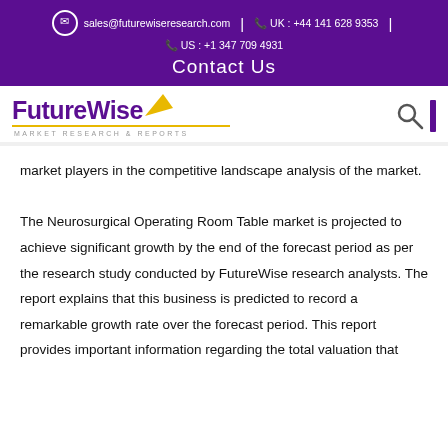sales@futurewiseresearch.com | UK : +44 141 628 9353 | US : +1 347 709 4931
Contact Us
[Figure (logo): FutureWise Market Research & Reports logo with yellow arrow and purple text]
market players in the competitive landscape analysis of the market.
The Neurosurgical Operating Room Table market is projected to achieve significant growth by the end of the forecast period as per the research study conducted by FutureWise research analysts. The report explains that this business is predicted to record a remarkable growth rate over the forecast period. This report provides important information regarding the total valuation that